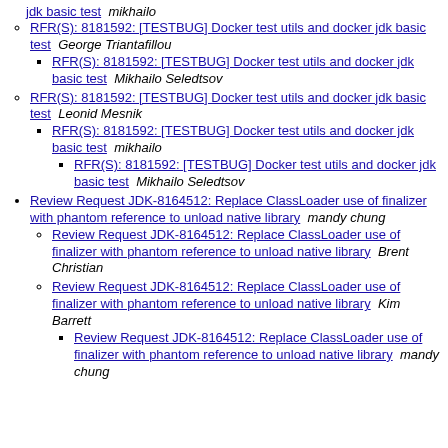jdk basic test  mikhailo
RFR(S): 8181592: [TESTBUG] Docker test utils and docker jdk basic test  George Triantafillou
RFR(S): 8181592: [TESTBUG] Docker test utils and docker jdk basic test  Mikhailo Seledtsov
RFR(S): 8181592: [TESTBUG] Docker test utils and docker jdk basic test  Leonid Mesnik
RFR(S): 8181592: [TESTBUG] Docker test utils and docker jdk basic test  mikhailo
RFR(S): 8181592: [TESTBUG] Docker test utils and docker jdk basic test  Mikhailo Seledtsov
Review Request JDK-8164512: Replace ClassLoader use of finalizer with phantom reference to unload native library  mandy chung
Review Request JDK-8164512: Replace ClassLoader use of finalizer with phantom reference to unload native library  Brent Christian
Review Request JDK-8164512: Replace ClassLoader use of finalizer with phantom reference to unload native library  Kim Barrett
Review Request JDK-8164512: Replace ClassLoader use of finalizer with phantom reference to unload native library  mandy chung